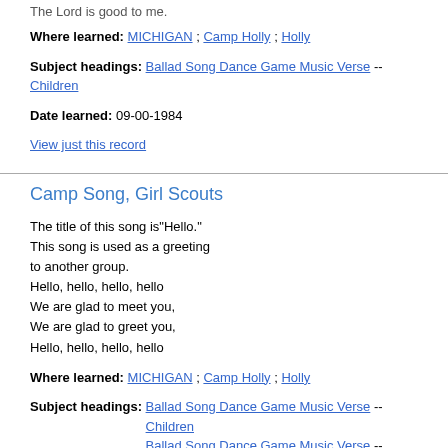The Lord is good to me.
Where learned: MICHIGAN ; Camp Holly ; Holly
Subject headings: Ballad Song Dance Game Music Verse -- Children
Date learned: 09-00-1984
View just this record
Camp Song, Girl Scouts
The title of this song is"Hello."
This song is used as a greeting to another group.
Hello, hello, hello, hello
We are glad to meet you,
We are glad to greet you,
Hello, hello, hello, hello
Where learned: MICHIGAN ; Camp Holly ; Holly
Subject headings: Ballad Song Dance Game Music Verse -- Children
Ballad Song Dance Game Music Verse -- Cradle song Lu
Date learned: 07-00-1984